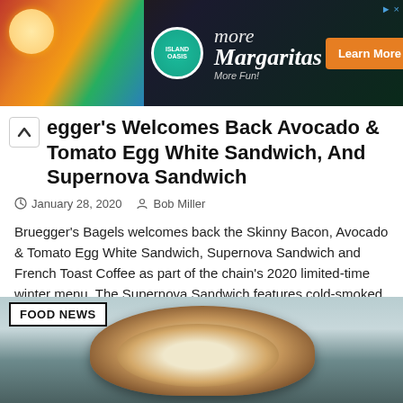[Figure (photo): Island Oasis advertisement banner for margaritas with colorful drinks on left, logo circle, text 'more Margaritas More Fun!' and orange Learn More button]
Begger's Welcomes Back Avocado & Tomato Egg White Sandwich, And Supernova Sandwich
January 28, 2020   Bob Miller
Bruegger's Bagels welcomes back the Skinny Bacon, Avocado & Tomato Egg White Sandwich, Supernova Sandwich and French Toast Coffee as part of the chain's 2020 limited-time winter menu. The Supernova Sandwich features cold-smoked salmon, smashed ..
[Figure (photo): Photo of a bagel sliced in half being held by a person wearing black gloves, outdoors with blurred background. Overlaid with FOOD NEWS label.]